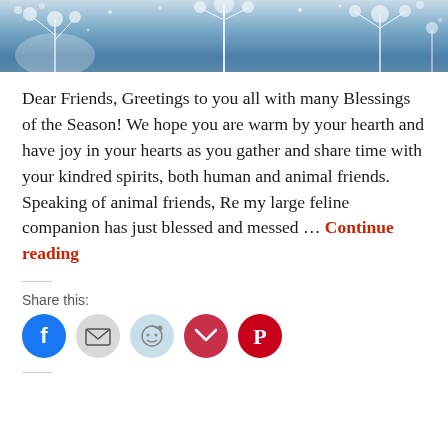[Figure (photo): Winter/holiday themed header image with blue tones, snowflakes, and frost-covered plants or dandelions against a wintry background.]
Dear Friends, Greetings to you all with many Blessings of the Season! We hope you are warm by your hearth and have joy in your hearts as you gather and share time with your kindred spirits, both human and animal friends. Speaking of animal friends, Re my large feline companion has just blessed and messed … Continue reading
Share this:
[Figure (infographic): Row of five social share buttons: Facebook (blue circle), Email (light grey circle), Reddit (light blue circle), Pocket (dark red circle), Pinterest (red circle).]